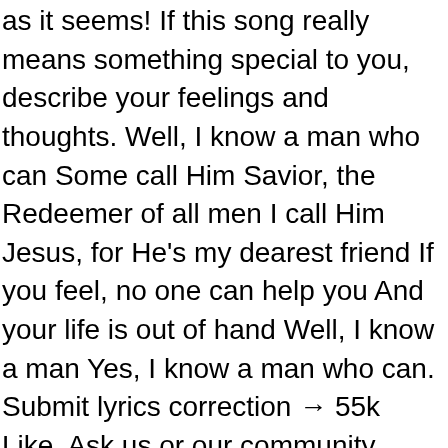as it seems! If this song really means something special to you, describe your feelings and thoughts. Well, I know a man who can Some call Him Savior, the Redeemer of all men I call Him Jesus, for He's my dearest friend If you feel, no one can help you And your life is out of hand Well, I know a man Yes, I know a man who can. Submit lyrics correction → 55k Like. Ask us or our community about the part of the song that interests you, We will try to respond as soon as possible. But I Know A Man Who Can. Also we collected some tips and tricks for you: Follow these rules and your meaning will be published. il y a 5 ans | 734 vues. But I know a man who can But I know a man who can. Bewertung, I Know a Man Who Can. If you feel no one can help you and your life is out of hand And make it white, whiter than snow. (Jack Campbell - Jimmie Davis) George Jones & Sheri Copeland. I can't take a soul that's sin sick and wash it white as snow. Print and Download I Know A Man Who Can sheet music. I can't take a heart that's broken, Make it over again. Wählen Sie Ihre Cookie-Einstellungen. Daily updates! But I Know A Man Who Can. I can't take a soul